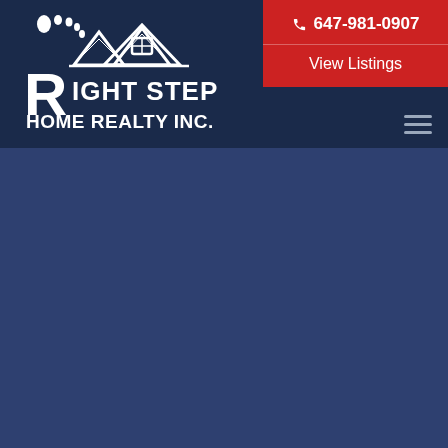[Figure (logo): Right Step Home Realty Inc. logo — white text and house/mountain icon on dark navy background header bar]
647-981-0907
View Listings